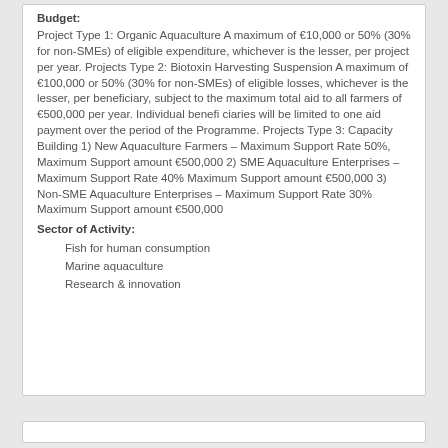Budget:
Project Type 1: Organic Aquaculture A maximum of €10,000 or 50% (30% for non-SMEs) of eligible expenditure, whichever is the lesser, per project per year. Projects Type 2: Biotoxin Harvesting Suspension A maximum of €100,000 or 50% (30% for non-SMEs) of eligible losses, whichever is the lesser, per beneficiary, subject to the maximum total aid to all farmers of €500,000 per year. Individual beneficiaries will be limited to one aid payment over the period of the Programme. Projects Type 3: Capacity Building 1) New Aquaculture Farmers – Maximum Support Rate 50%, Maximum Support amount €500,000 2) SME Aquaculture Enterprises – Maximum Support Rate 40% Maximum Support amount €500,000 3) Non-SME Aquaculture Enterprises – Maximum Support Rate 30% Maximum Support amount €500,000
Sector of Activity:
Fish for human consumption
Marine aquaculture
Research & innovation